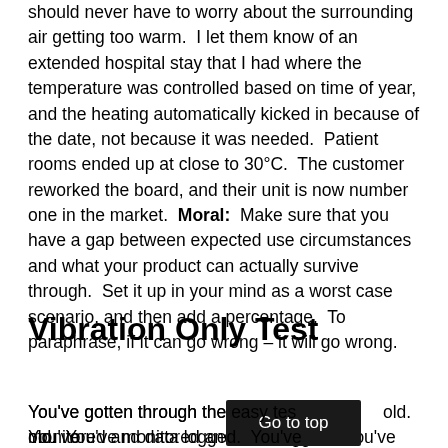should never have to worry about the surrounding air getting too warm.  I let them know of an extended hospital stay that I had where the temperature was controlled based on time of year, and the heating automatically kicked in because of the date, not because it was needed.  Patient rooms ended up at close to 30°C.  The customer reworked the board, and their unit is now number one in the market.  Moral:  Make sure that you have a gap between expected use circumstances and what your product can actually survive through.  Set it up in your mind as a worst case scenario, and then add a percentage.  To paraphrase, if it can go wrong – it will go wrong.
Vibration Only Test
You've gotten through the easy tests of hot and cold.  You've monitored and data logged.  You've made changes that you feel